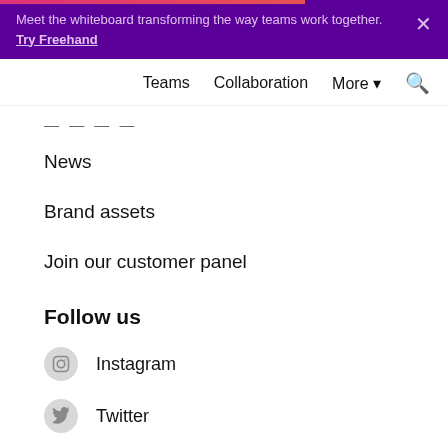Meet the whiteboard transforming the way teams work together. Try Freehand
Teams  Collaboration  More  🔍
— — — — —
News
Brand assets
Join our customer panel
Follow us
Instagram
Twitter